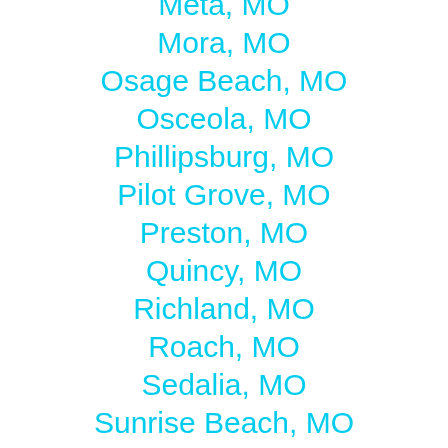Meta, MO
Mora, MO
Osage Beach, MO
Osceola, MO
Phillipsburg, MO
Pilot Grove, MO
Preston, MO
Quincy, MO
Richland, MO
Roach, MO
Sedalia, MO
Sunrise Beach, MO
Swedeborg, MO
Tipton, MO